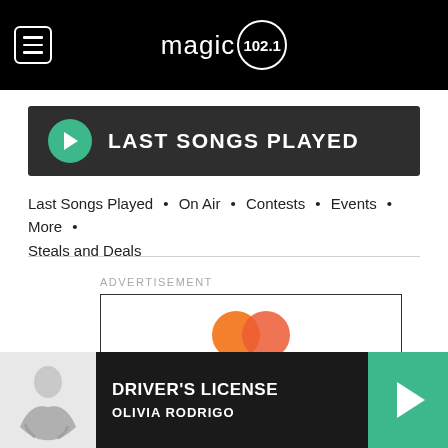magic 102.1
LAST SONGS PLAYED
Last Songs Played • On Air • Contests • Events • More • Steals and Deals
ADVERTISEMENT
[Figure (logo): Mastercard logo - two overlapping circles, orange and red]
[Figure (photo): Olivia Rodrigo sitting on white background]
DRIVER'S LICENSE
OLIVIA RODRIGO